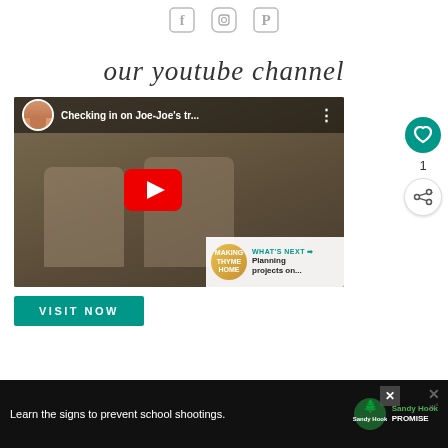[Figure (illustration): Social media icons: Facebook (f), Instagram (camera), Pinterest (P) arranged horizontally centered at top]
our youtube channel
[Figure (screenshot): YouTube video thumbnail showing two goats in a barn, with title 'Checking in on Joe-Joe's tr...' and a woman's avatar circle, red play button overlay. 'WHAT'S NEXT -> Planning projects on...' overlay at bottom right. Sidebar with heart icon (teal), count 1, and share icon.]
VISIT NOW
[Figure (infographic): Advertisement bar at bottom: dark background, text 'Learn the signs to prevent school shootings.' with Sandy Hook Promise logo (green tree). Close X button and another X button at right.]